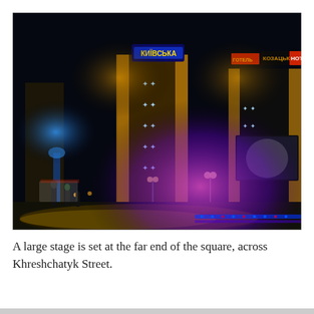[Figure (photo): Night photograph of Maidan Nezalezhnosti (Independence Square) in Kyiv, Ukraine. Shows illuminated buildings with Cyrillic signage (including blue and yellow hotel sign), a colorful fountain in the foreground with purple and blue lighting, street lights, and people walking in the square.]
A large stage is set at the far end of the square, across Khreshchatyk Street.